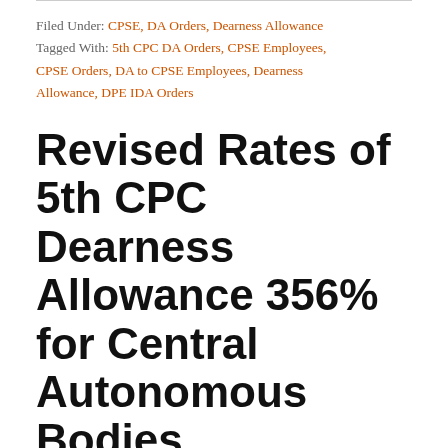Filed Under: CPSE, DA Orders, Dearness Allowance
Tagged With: 5th CPC DA Orders, CPSE Employees, CPSE Orders, DA to CPSE Employees, Dearness Allowance, DPE IDA Orders
Revised Rates of 5th CPC Dearness Allowance 356% for Central Autonomous Bodies Employees
August 17, 2021 by Admin — Leave a Comment
Revised rates of Dearness Allowance 312% to 356% to the employees of Central